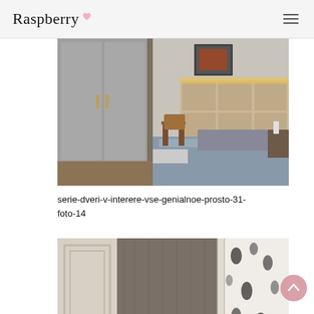Raspberry
[Figure (photo): Bedroom interior with grey wardrobe doors and bed with grey bedding, wooden chair, framed artwork on wall, and upholstered headboard with ambient lighting]
serie-dveri-v-interere-vse-genialnoe-prosto-31-foto-14
[Figure (photo): Interior door with wood-grain finish in grey/brown tones, flanked by white ornate door frames and floral wallpaper visible on the right]